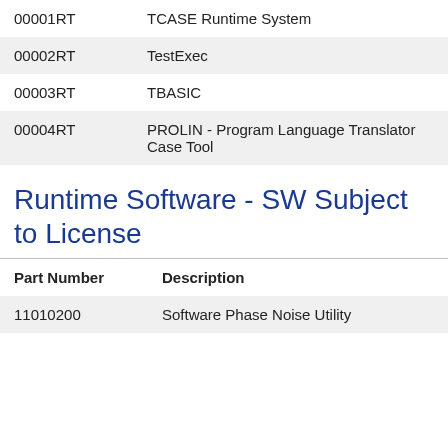| Part Number | Description |
| --- | --- |
| 00001RT | TCASE Runtime System |
| 00002RT | TestExec |
| 00003RT | TBASIC |
| 00004RT | PROLIN - Program Language Translator Case Tool |
Runtime Software - SW Subject to License
| Part Number | Description |
| --- | --- |
| 11010200 | Software Phase Noise Utility |